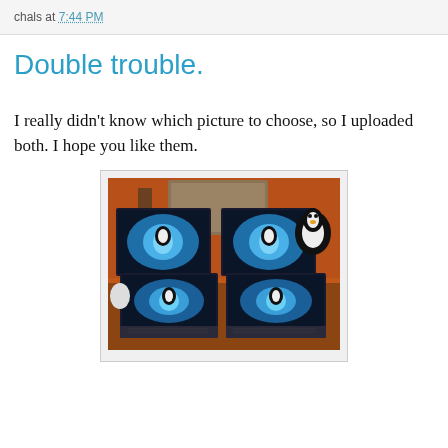chals at 7:44 PM
Double trouble.
I really didn't know which picture to choose, so I uploaded both. I hope you like them.
[Figure (photo): Two laptops side by side with Linux Tux penguin wallpaper on all four screens (two monitors on top, two laptop screens below), and a Tux plush toy in the top-right corner on a wooden desk]